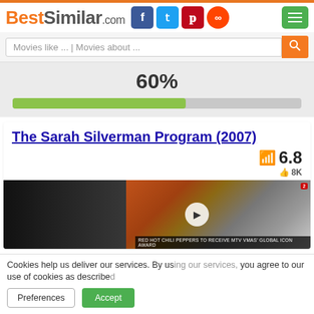BestSimilar.com
Movies like ... | Movies about ...
60%
[Figure (other): Horizontal progress bar showing 60% fill in yellow-green color on grey background]
The Sarah Silverman Program (2007)
6.8
8K
[Figure (photo): Video thumbnail showing people (band members) standing in front of a venue. Red Hot Chili Peppers receive MTV VMAs Global Icon Award. Play button overlay visible.]
Cookies help us deliver our services. By using our services, you agree to our use of cookies as described